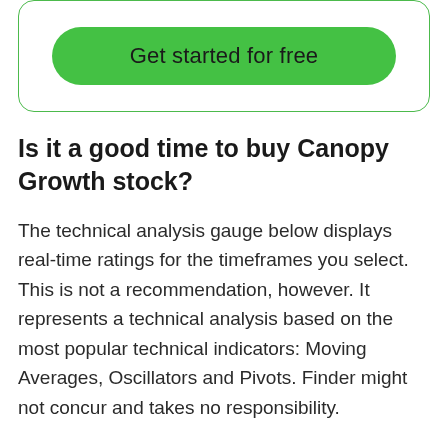[Figure (other): Green rounded button labeled 'Get started for free' inside a rounded border container]
Is it a good time to buy Canopy Growth stock?
The technical analysis gauge below displays real-time ratings for the timeframes you select. This is not a recommendation, however. It represents a technical analysis based on the most popular technical indicators: Moving Averages, Oscillators and Pivots. Finder might not concur and takes no responsibility.